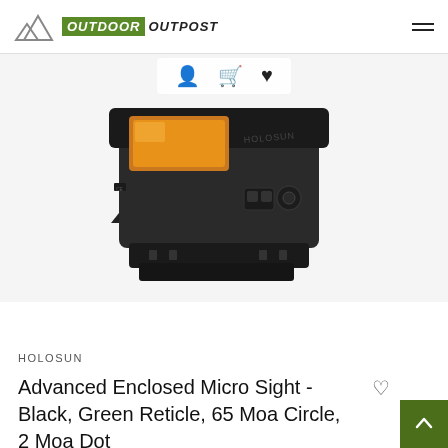OUTDOOR OUTPOST
[Figure (photo): Holosun Advanced Enclosed Micro Sight in black, angled view showing orange/amber lens, control buttons, and brand markings on a white background]
HOLOSUN
Advanced Enclosed Micro Sight - Black, Green Reticle, 65 Moa Circle, 2 Moa Dot